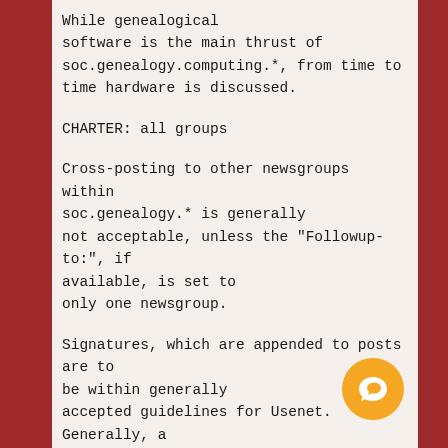While genealogical software is the main thrust of soc.genealogy.computing.*, from time to time hardware is discussed.
CHARTER: all groups
Cross-posting to other newsgroups within soc.genealogy.* is generally not acceptable, unless the "Followup-to:", if available, is set to only one newsgroup.
Signatures, which are appended to posts are to be within generally accepted guidelines for Usenet. Generally, a signature should briefly identify the person, and provide a pointer additional resources, if any, such as a web page. Advertising a product